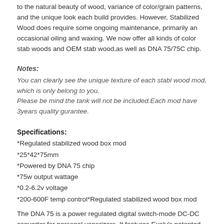to the natural beauty of wood, variance of color/grain patterns, and the unique look each build provides. However, Stabilized Wood does require some ongoing maintenance, primarily an occasional oiling and waxing. We now offer all kinds of color stab woods and OEM stab wood,as well as DNA 75/75C chip.
Notes:
You can clearly see the unique texture of each stabl wood mod, which is only belong to you.
Please be mind the tank will not be included.Each mod have 3years quality gurantee.
Specifications:
*Regulated stabilized wood box mod
*25*42*75mm
*Powered by DNA 75 chip
*75w output wattage
*0.2-6.2v voltage
*200-600F temp control*Regulated stabilized wood box mod
The DNA 75 is a power regulated digital switch-mode DC-DC converter for personal vaporizers. It features Evolv's patented Wattage Control